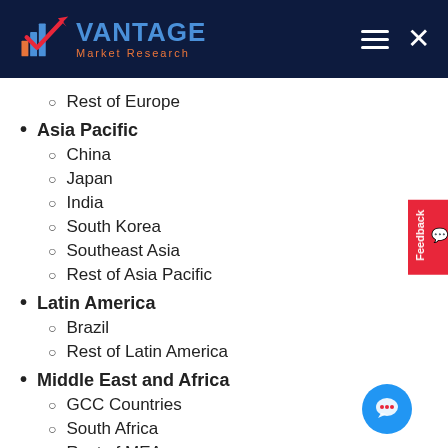Vantage Market Research
Rest of Europe
Asia Pacific
China
Japan
India
South Korea
Southeast Asia
Rest of Asia Pacific
Latin America
Brazil
Rest of Latin America
Middle East and Africa
GCC Countries
South Africa
Rest of MEA